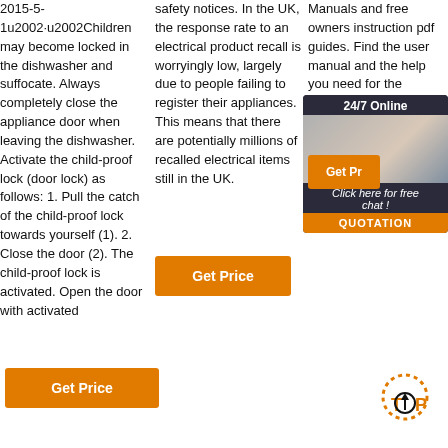2015-5-1u2002·u2002Children may become locked in the dishwasher and suffocate. Always completely close the appliance door when leaving the dishwasher. Activate the child-proof lock (door lock) as follows: 1. Pull the catch of the child-proof lock towards yourself (1). 2. Close the door (2). The child-proof lock is activated. Open the door with activated
safety notices. In the UK, the response rate to an electrical product recall is worryingly low, largely due to people failing to register their appliances. This means that there are potentially millions of recalled electrical items still in the UK.
Manuals and free owners instruction pdf guides. Find the user manual and the help you need for the products you own at Manuals...
[Figure (infographic): 24/7 Online chat widget with woman wearing headset, dark background, 'Click here for free chat!' text and orange QUOTATION button]
[Figure (infographic): TOP button icon with orange dotted arc and upward arrow]
Get Price (button, column 1)
Get Price (button, column 2)
Get Pr... (button, column 3, partially visible)